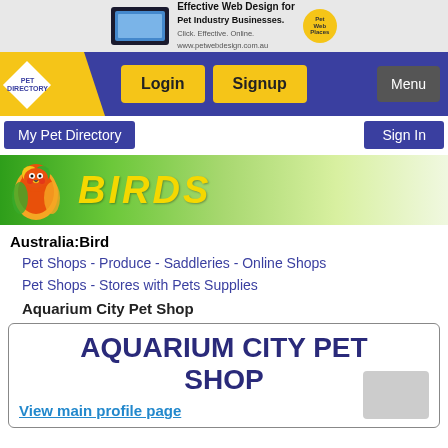[Figure (screenshot): Ad banner: Effective Web Design for Pet Industry Businesses with laptop image and logo]
[Figure (screenshot): Pet Directory navigation bar with logo, Login, Signup, and Menu buttons]
My Pet Directory
Sign In
[Figure (illustration): Birds banner with green gradient background, parrot image, and BIRDS text in yellow]
Australia: Bird
Pet Shops - Produce - Saddleries - Online Shops
Pet Shops - Stores with Pets Supplies
Aquarium City Pet Shop
AQUARIUM CITY PET SHOP
View main profile page